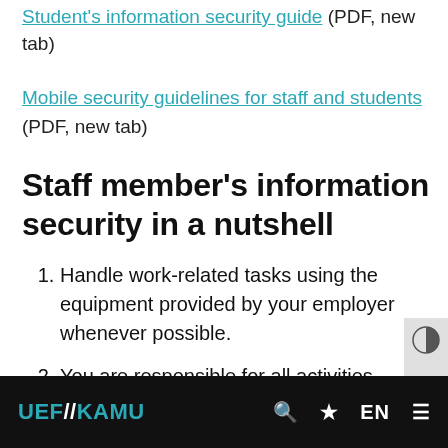Student's information security guide (PDF, new tab)
Mobile security guidelines for staff and students (PDF, new tab)
Staff member's information security in a nutshell
Handle work-related tasks using the equipment provided by your employer whenever possible.
You are responsible for all activities carried out under your user ID. Protect all
UEF//KAMU  EN